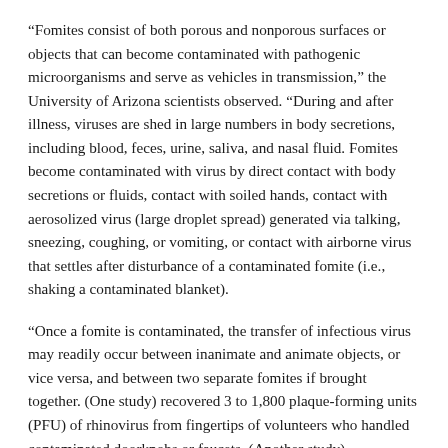“Fomites consist of both porous and nonporous surfaces or objects that can become contaminated with pathogenic microorganisms and serve as vehicles in transmission,” the University of Arizona scientists observed. “During and after illness, viruses are shed in large numbers in body secretions, including blood, feces, urine, saliva, and nasal fluid. Fomites become contaminated with virus by direct contact with body secretions or fluids, contact with soiled hands, contact with aerosolized virus (large droplet spread) generated via talking, sneezing, coughing, or vomiting, or contact with airborne virus that settles after disturbance of a contaminated fomite (i.e., shaking a contaminated blanket).
“Once a fomite is contaminated, the transfer of infectious virus may readily occur between inanimate and animate objects, or vice versa, and between two separate fomites if brought together. (One study) recovered 3 to 1,800 plaque-forming units (PFU) of rhinovirus from fingertips of volunteers who handled contaminated doorknobs or faucets. (Another study) demonstrated that 65 percent of virus could be transferred to uncontaminated hands and 34 percent to the mouth.”